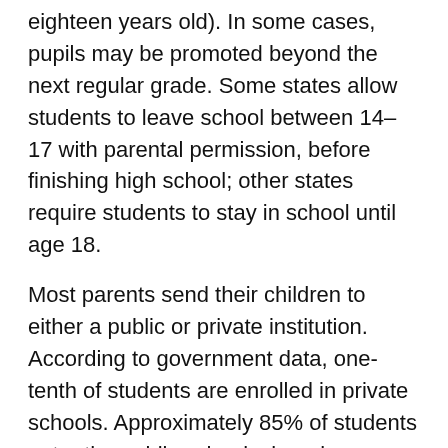eighteen years old). In some cases, pupils may be promoted beyond the next regular grade. Some states allow students to leave school between 14–17 with parental permission, before finishing high school; other states require students to stay in school until age 18.
Most parents send their children to either a public or private institution. According to government data, one-tenth of students are enrolled in private schools. Approximately 85% of students enter the public schools, largely because they are tax-subsidized (tax burdens by school districts vary from area to area).
There are more than 14,000 school districts in the